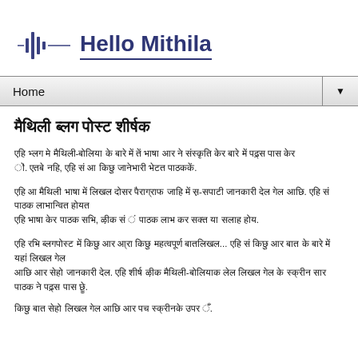[Figure (logo): Hello Mithila logo with audio waveform icon on the left and bold dark blue text 'Hello Mithila' with underline]
Home ▼
मैथिली ब्लग पोस्ट शीर्षक
पहिल पैराग्राफ - मैथिली भाषामे लिखल गेल पहिल अनुच्छेद जे मैथिली पाठकक लेल अछि। एतबे नहि, एहि सँ आर किछु जानकारी भेटत पाठककेँ।
दोसर पैराग्राफ - मैथिली भाषाक दोसर अनुच्छेद जाहिमे किछु आर विस्तृत जानकारी देल गेल अछि। एहि सँ पाठक लाभान्वित होयत।
तेसर पैराग्राफ - मैथिली ब्लगक तेसर अनुच्छेद... एहिमे आरो किछु महत्वपूर्ण बात लिखल गेल अछि। एहि पोस्टमे आर-आर जानकारी सेहो देल गेल अछि।
चारिम पंक्ति - एहि ब्लगपोस्टक चारिम अनुच्छेदक शुरुआत।